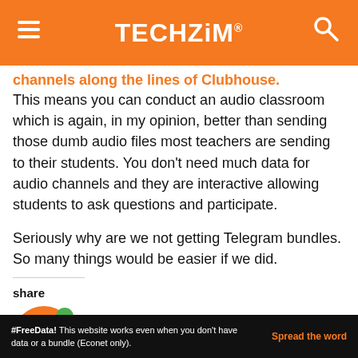TECHZiM
channels along the lines of Clubhouse. This means you can conduct an audio classroom which is again, in my opinion, better than sending those dumb audio files most teachers are sending to their students. You don't need much data for audio channels and they are interactive allowing students to ask questions and participate.
Seriously why are we not getting Telegram bundles. So many things would be easier if we did.
share
#FreeData! This website works even when you don't have data or a bundle (Econet only). Spread the word